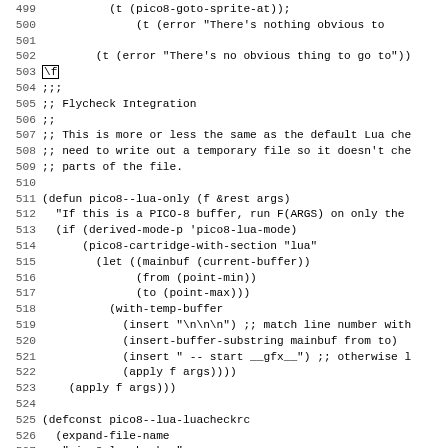Source code listing, lines 500-531, Emacs Lisp / Lua integration code
500: (t (error "There's nothing obvious to
501: 
502: (t (error "There's no obvious thing to go to"))
503: \f
504: ;;;
505: ;; Flycheck Integration
506: ;;
507: ;; This is more or less the same as the default Lua che
508: ;; need to write out a temporary file so it doesn't che
509: ;; parts of the file.
510: 
511: (defun pico8--lua-only (f &rest args)
512:   "If this is a PICO-8 buffer, run F(ARGS) on only the
513:   (if (derived-mode-p 'pico8-lua-mode)
514:     (pico8-cartridge-with-section "lua"
515:       (let ((mainbuf (current-buffer))
516:             (from (point-min))
517:             (to (point-max)))
518:         (with-temp-buffer
519:           (insert "\n\n\n") ;; match line number with
520:           (insert-buffer-substring mainbuf from to)
521:           (insert " -- start __gfx__") ;; otherwise l
522:           (apply f args))))
523:     (apply f args)))
524: 
525: (defconst pico8--lua-luacheckrc
526:   (expand-file-name
527:     "pico8.luacheckrc"
528:     (file-name-directory (or load-file-name buffer-file-
529: 
530: (eval-when-compile
531:   (require 'flycheck))